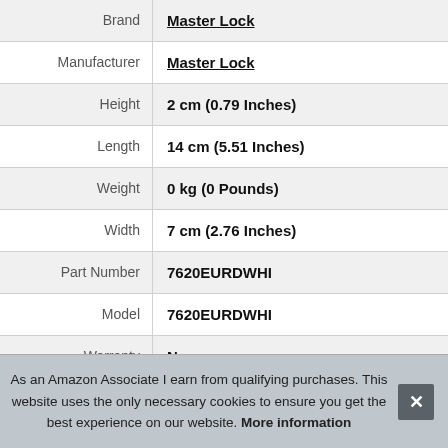| Attribute | Value |
| --- | --- |
| Brand | Master Lock |
| Manufacturer | Master Lock |
| Height | 2 cm (0.79 Inches) |
| Length | 14 cm (5.51 Inches) |
| Weight | 0 kg (0 Pounds) |
| Width | 7 cm (2.76 Inches) |
| Part Number | 7620EURDWHI |
| Model | 7620EURDWHI |
| Warranty | No. |
As an Amazon Associate I earn from qualifying purchases. This website uses the only necessary cookies to ensure you get the best experience on our website. More information